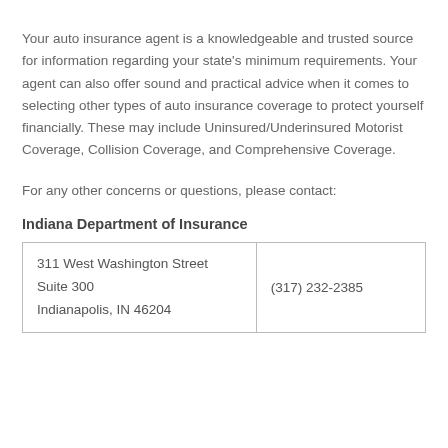Your auto insurance agent is a knowledgeable and trusted source for information regarding your state's minimum requirements. Your agent can also offer sound and practical advice when it comes to selecting other types of auto insurance coverage to protect yourself financially. These may include Uninsured/Underinsured Motorist Coverage, Collision Coverage, and Comprehensive Coverage.
For any other concerns or questions, please contact:
Indiana Department of Insurance
| 311 West Washington Street
Suite 300
Indianapolis, IN 46204 | (317) 232-2385 |